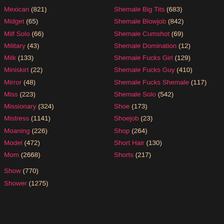Mexican (821)
Midget (65)
Milf Solo (66)
Military (43)
Milk (133)
Miniskirt (22)
Mirror (48)
Miss (223)
Missionary (324)
Mistress (1141)
Moaning (226)
Model (472)
Mom (2668)
Show (770)
Shower (1275)
Shemale Big Tits (683)
Shemale Blowjob (842)
Shemale Cumshot (69)
Shemale Domination (12)
Shemale Fucks Girl (129)
Shemale Fucks Guy (410)
Shemale Fucks Shemale (117)
Shemale Solo (542)
Shoe (173)
Shoejob (23)
Shop (264)
Short Hair (130)
Shorts (217)